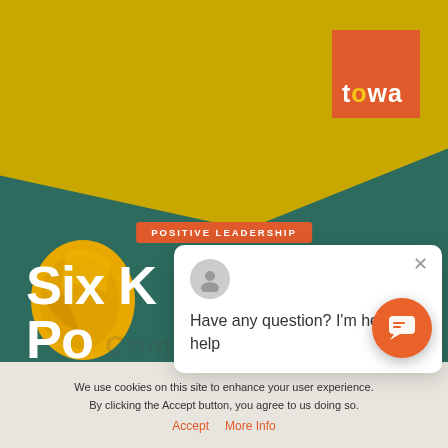[Figure (screenshot): Website screenshot showing a Positive Leadership article page from towa.com with a green background, crumpled yellow paper, towa logo, POSITIVE LEADERSHIP badge, title 'Six Keys to Po...', cookie consent bar, and a chat popup saying 'Have any question? I'm here to help']
Six Keys to Po...
POSITIVE LEADERSHIP
Have any question? I'm here to help
We use cookies on this site to enhance your user experience. By clicking the Accept button, you agree to us doing so.
Accept   More Info